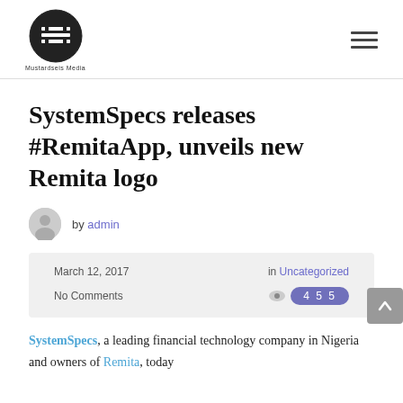Mustardseis Media
SystemSpecs releases #RemitaApp, unveils new Remita logo
by admin
March 12, 2017   in Uncategorized   No Comments   455 views
SystemSpecs, a leading financial technology company in Nigeria and owners of Remita, today